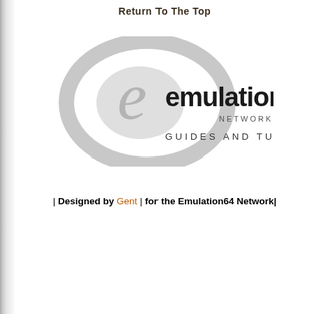Return To The Top
[Figure (logo): Emulation64 Network logo — stylized grey oval with 'emulation64 NETWORK' text and 'GUIDES AND TUTORIALS' below]
| Designed by Gent | for the Emulation64 Network|
Prev Page  :  Using
Next P
46,158,729 Visitors To The Emulation64
Copyright 1999 - 2022 www.emulation